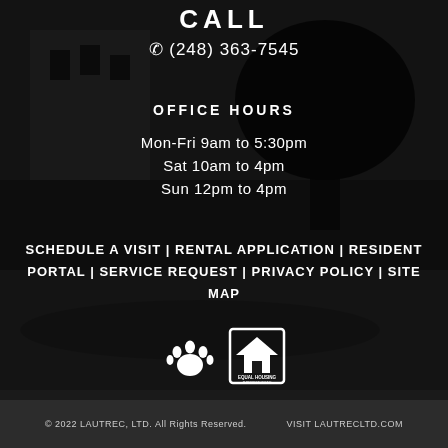CALL
☎ (248) 363-7545
OFFICE HOURS
Mon-Fri 9am to 5:30pm
Sat 10am to 4pm
Sun 12pm to 4pm
SCHEDULE A VISIT | RENTAL APPLICATION | RESIDENT PORTAL | SERVICE REQUEST | PRIVACY POLICY | SITE MAP
[Figure (logo): Paw print icon and Equal Housing Opportunity logo]
© 2022 LAUTREC, LTD. All Rights Reserved.    VISIT LAUTRECLTD.COM